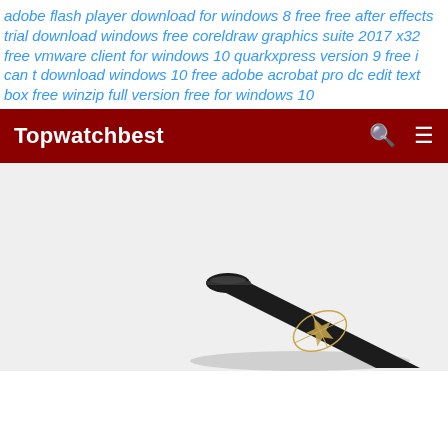adobe flash player download for windows 8 free free after effects trial download windows free coreldraw graphics suite 2017 x32 free vmware client for windows 10 quarkxpress version 9 free i can t download windows 10 free adobe acrobat pro dc edit text box free winzip full version free for windows 10
Topwatchbest
[Figure (photo): A rolled dark black yoga mat with a gold decorative design/logo visible on it, partially rolled, shown from a top-angled perspective against a light gray background.]